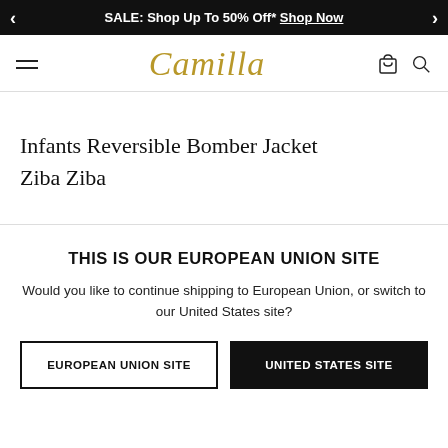SALE: Shop Up To 50% Off* Shop Now
[Figure (logo): Camilla brand logo in gold italic script font, with hamburger menu icon on left and bag/search icons on right]
Infants Reversible Bomber Jacket
Ziba Ziba
THIS IS OUR EUROPEAN UNION SITE
Would you like to continue shipping to European Union, or switch to our United States site?
EUROPEAN UNION SITE | UNITED STATES SITE